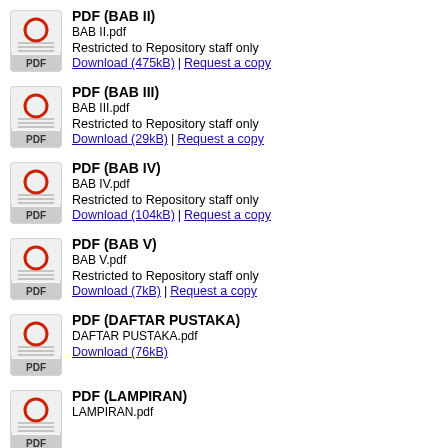PDF (BAB II)
BAB II.pdf
Restricted to Repository staff only
Download (475kB) | Request a copy
PDF (BAB III)
BAB III.pdf
Restricted to Repository staff only
Download (29kB) | Request a copy
PDF (BAB IV)
BAB IV.pdf
Restricted to Repository staff only
Download (104kB) | Request a copy
PDF (BAB V)
BAB V.pdf
Restricted to Repository staff only
Download (7kB) | Request a copy
PDF (DAFTAR PUSTAKA)
DAFTAR PUSTAKA.pdf
Download (76kB)
PDF (LAMPIRAN)
LAMPIRAN.pdf